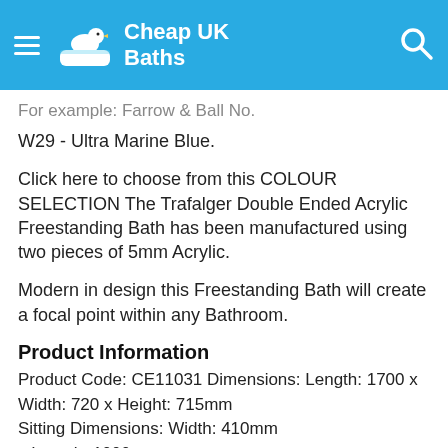Cheap UK Baths
For example: Farrow & Ball No.
W29 - Ultra Marine Blue.
Click here to choose from this COLOUR SELECTION The Trafalger Double Ended Acrylic Freestanding Bath has been manufactured using two pieces of 5mm Acrylic.
Modern in design this Freestanding Bath will create a focal point within any Bathroom.
Product Information
Product Code: CE11031 Dimensions: Length: 1700 x Width: 720 x Height: 715mm
Sitting Dimensions: Width: 410mm
x Length: 1000mm